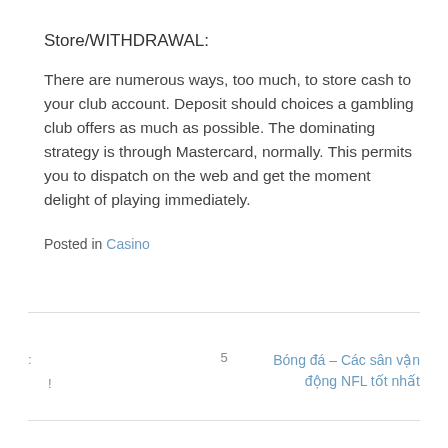Store/WITHDRAWAL:
There are numerous ways, too much, to store cash to your club account. Deposit should choices a gambling club offers as much as possible. The dominating strategy is through Mastercard, normally. This permits you to dispatch on the web and get the moment delight of playing immediately.
Posted in Casino
: 5 Bóng đá – Các sân vận động NFL tốt nhất !